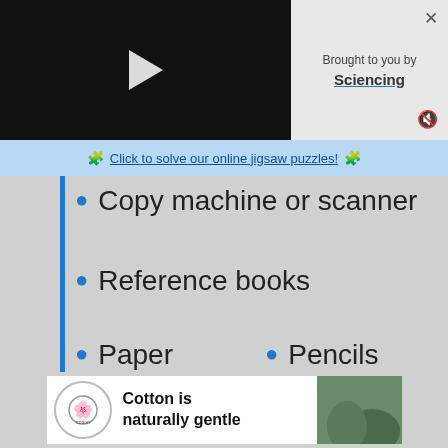[Figure (screenshot): Video player with play button, dark background]
Brought to you by Sciencing
✦ Click to solve our online jigsaw puzzles! ✦
Copy machine or scanner
Reference books
Paper
Pencils
Magnifying glass (optional)
Drawing or tracing paper (optional)
[Figure (photo): Cotton ad: Cotton is naturally gentle, with product image of green pants]